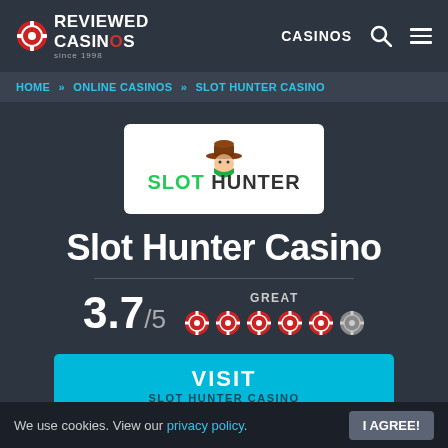[Figure (logo): Reviewed Casinos logo with red poker chip icon, white bold text 'REVIEWED CASINOS' and 'since 1998']
CASINOS
HOME » ONLINE CASINOS » SLOT HUNTER CASINO
[Figure (logo): Slot Hunter Casino logo: cowboy mascot with green bandana, green and white SLOT HUNTER text on white card]
Slot Hunter Casino
GREAT 3.7/5 (6 poker chip icons, 5 red filled, 1 grey)
VISIT SLOT HUNTER CASINO
We use cookies. View our privacy policy. I AGREE!